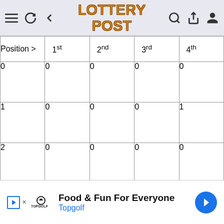Lottery Post
| Position > | 1st | 2nd | 3rd | 4th |
| --- | --- | --- | --- | --- |
| 0 | 0 | 0 | 0 | 0 |
| 1 | 0 | 0 | 0 | 1 |
| 2 | 0 | 0 | 0 | 0 |
| 3 | 0 | 0 | 1 | 0 |
| 4 | 0 | 0 | 0 | 0 |
| 5 | 0 | 0 | 0 | 0 |
| 6 | 0 | 1 | 0 | 0 |
Food & Fun For Everyone — Topgolf